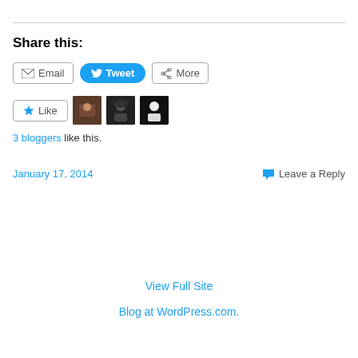Share this:
Email  Tweet  More
[Figure (other): Like button and three blogger avatar thumbnails]
3 bloggers like this.
January 17, 2014   Leave a Reply
View Full Site
Blog at WordPress.com.